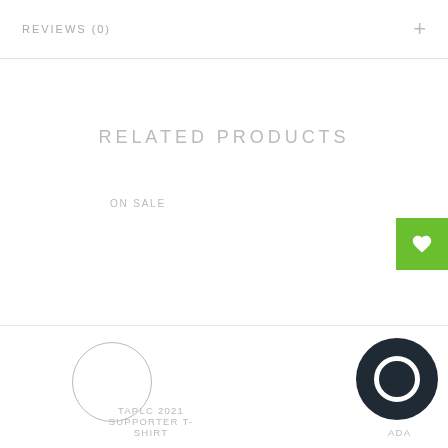REVIEWS (0)
RELATED PRODUCTS
ON SALE
[Figure (illustration): Green wishlist heart button at right edge]
[Figure (illustration): Circular product thumbnail outline and dark chat widget icon at bottom]
TAPLC 2021 SUPPORTER T-SHIRT
ADA